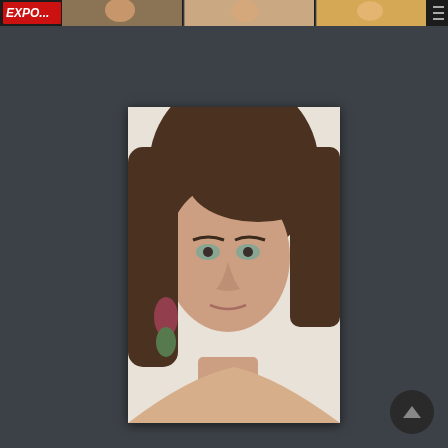[Figure (screenshot): Website header banner with 'EXPOSE' logo in red text on dark background, showing a strip of thumbnails of people/celebrities. Navigation hamburger menu icon visible on right.]
[Figure (photo): Portrait photograph of a young woman with long dark brown hair with side-swept bangs, light eyes, wearing decorative earrings. She is looking at the camera against a light/white background. The photo is displayed centered on a dark gray webpage background.]